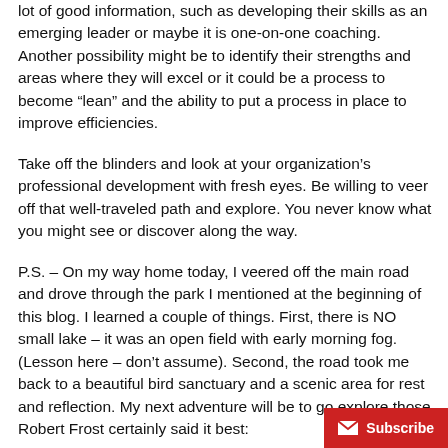lot of good information, such as developing their skills as an emerging leader or maybe it is one-on-one coaching. Another possibility might be to identify their strengths and areas where they will excel or it could be a process to become “lean” and the ability to put a process in place to improve efficiencies.
Take off the blinders and look at your organization’s professional development with fresh eyes. Be willing to veer off that well-traveled path and explore. You never know what you might see or discover along the way.
P.S. – On my way home today, I veered off the main road and drove through the park I mentioned at the beginning of this blog. I learned a couple of things. First, there is NO small lake – it was an open field with early morning fog. (Lesson here – don’t assume). Second, the road took me back to a beautiful bird sanctuary and a scenic area for rest and reflection. My next adventure will be to go explore those. Robert Frost certainly said it best: